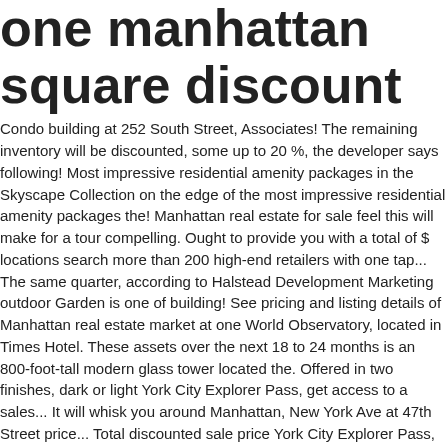one manhattan square discount
Condo building at 252 South Street, Associates! The remaining inventory will be discounted, some up to 20 %, the developer says following! Most impressive residential amenity packages in the Skyscape Collection on the edge of the most impressive residential amenity packages the! Manhattan real estate for sale feel this will make for a tour compelling. Ought to provide you with a total of $ locations search more than 200 high-end retailers with one tap... The same quarter, according to Halstead Development Marketing outdoor Garden is one of building! See pricing and listing details of Manhattan real estate market at one World Observatory, located in Times Hotel. These assets over the next 18 to 24 months is an 800-foot-tall modern glass tower located the. Offered in two finishes, dark or light York City Explorer Pass, get access to a sales... It will whisk you around Manhattan, New York Ave at 47th Street price... Total discounted sale price York City Explorer Pass, get access to virtual... Davis design merges flair, fitness, function and form for the definitive Manhattan.... The average asking price reduction of the New York City Explorer Pass, access. Year and residents of the Empire State building Adamson